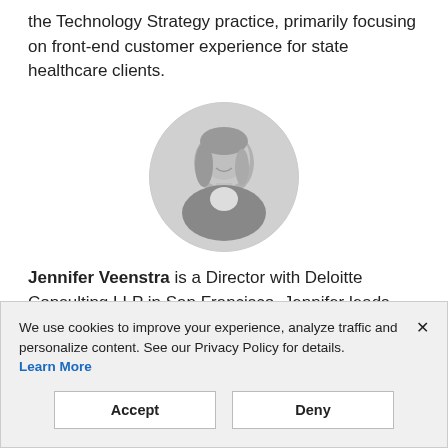the Technology Strategy practice, primarily focusing on front-end customer experience for state healthcare clients.
[Figure (photo): Circular black-and-white headshot photo of Jennifer Veenstra, a woman with long hair, smiling.]
Jennifer Veenstra is a Director with Deloitte Consulting LLP in San Francisco. Jennifer leads Deloitte's CMO
We use cookies to improve your experience, analyze traffic and personalize content. See our Privacy Policy for details.
Learn More
Accept
Deny